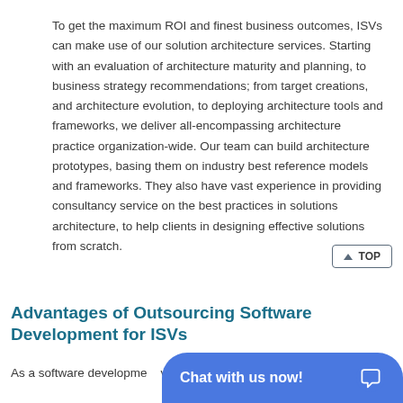To get the maximum ROI and finest business outcomes, ISVs can make use of our solution architecture services. Starting with an evaluation of architecture maturity and planning, to business strategy recommendations; from target creations, and architecture evolution, to deploying architecture tools and frameworks, we deliver all-encompassing architecture practice organization-wide. Our team can build architecture prototypes, basing them on industry best reference models and frameworks. They also have vast experience in providing consultancy service on the best practices in solutions architecture, to help clients in designing effective solutions from scratch.
Advantages of Outsourcing Software Development for ISVs
As a software development vendor with 23 years of ex...